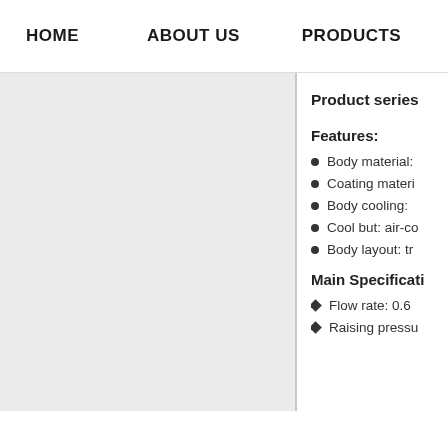HOME   ABOUT US   PRODUCTS   CASES
[Figure (photo): Product image panel, light gray background]
Product series
Features:
Body material:
Coating materi...
Body cooling:
Cool but: air-co...
Body layout: tr...
Main Specificati...
Flow rate: 0.6
Raising pressu...